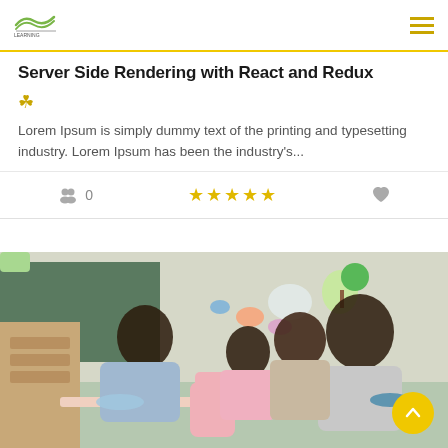Server Side Rendering with React and Redux
Lorem Ipsum is simply dummy text of the printing and typesetting industry. Lorem Ipsum has been the industry's...
0 | ☆☆☆☆☆ | ♥
[Figure (photo): Children sitting at a table in a classroom eating snacks, with colorful decorations on the wall behind them.]